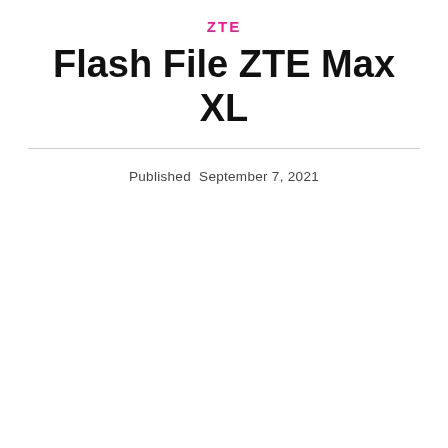ZTE
Flash File ZTE Max XL
Published September 7, 2021